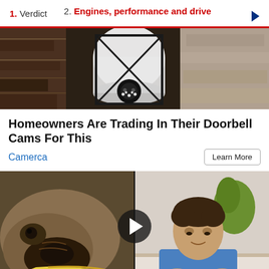1. Verdict   2. Engines, performance and drive
[Figure (photo): Close-up photo of a security camera on a wall-mounted lamp/light fixture against a textured stone wall]
Homeowners Are Trading In Their Doorbell Cams For This
Camerca   Learn More
[Figure (photo): Split image showing a pug dog eating a banana on the left, and a man in a blue shirt at a desk on the right, with a video play button overlay in the center]